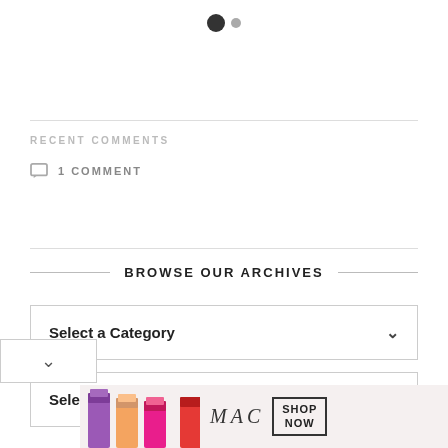[Figure (other): Pagination dots: one large filled dark circle and one smaller gray circle]
RECENT COMMENTS
1 COMMENT
BROWSE OUR ARCHIVES
Select a Category
Select a Month
[Figure (screenshot): MAC cosmetics advertisement banner showing lipsticks, MAC logo, and SHOP NOW button]